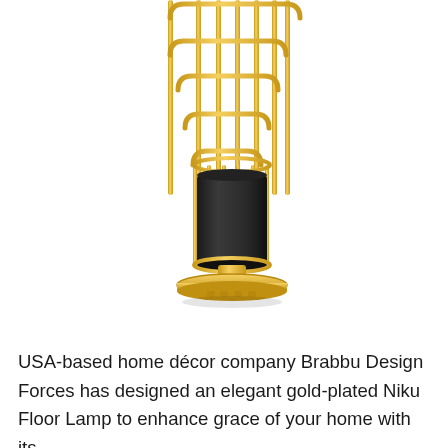[Figure (photo): A gold-plated Niku Floor Lamp with an ornate Art Deco-style frame of rounded rectangular gold metal loops arranged vertically, enclosing a cylindrical black fabric shade base, all mounted on a circular gold base plate.]
USA-based home décor company Brabbu Design Forces has designed an elegant gold-plated Niku Floor Lamp to enhance grace of your home with its